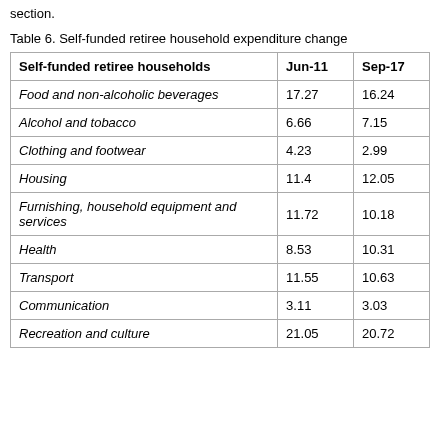section.
Table 6. Self-funded retiree household expenditure change
| Self-funded retiree households | Jun-11 | Sep-17 |
| --- | --- | --- |
| Food and non-alcoholic beverages | 17.27 | 16.24 |
| Alcohol and tobacco | 6.66 | 7.15 |
| Clothing and footwear | 4.23 | 2.99 |
| Housing | 11.4 | 12.05 |
| Furnishing, household equipment and services | 11.72 | 10.18 |
| Health | 8.53 | 10.31 |
| Transport | 11.55 | 10.63 |
| Communication | 3.11 | 3.03 |
| Recreation and culture | 21.05 | 20.72 |